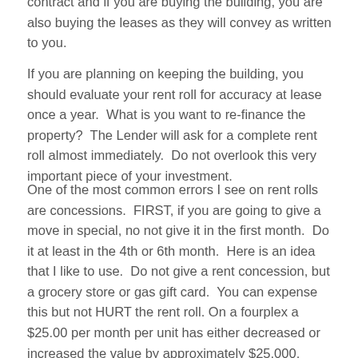contract and if you are buying the building, you are also buying the leases as they will convey as written to you.
If you are planning on keeping the building, you should evaluate your rent roll for accuracy at lease once a year.  What is you want to re-finance the property?  The Lender will ask for a complete rent roll almost immediately.  Do not overlook this very important piece of your investment.
One of the most common errors I see on rent rolls are concessions.  FIRST, if you are going to give a move in special, no not give it in the first month.  Do it at least in the 4th or 6th month.  Here is an idea that I like to use.  Do not give a rent concession, but a grocery store or gas gift card.  You can expense this but not HURT the rent roll. On a fourplex a $25.00 per month per unit has either decreased or increased the value by approximately $25,000.